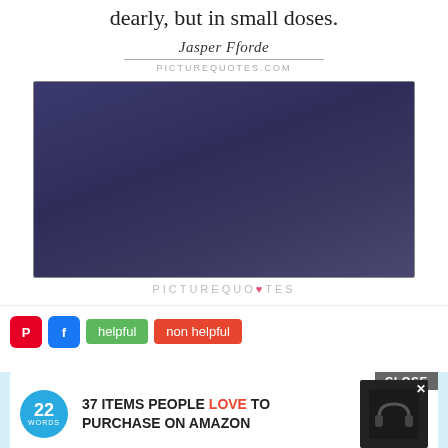dearly, but in small doses.
Jasper Fforde
PICTUREQUOTES.com
[Figure (illustration): Dark navy/indigo rectangular image, gradient background, appears to be a quote card image from PictureQuotes.]
PICTUREQUOTES
[Figure (screenshot): Website UI with Pinterest and Facebook share icons, helpful and non helpful buttons, a close button, and an advertisement for '37 Items People Love to Purchase on Amazon' from 22Words, with headphone product image.]